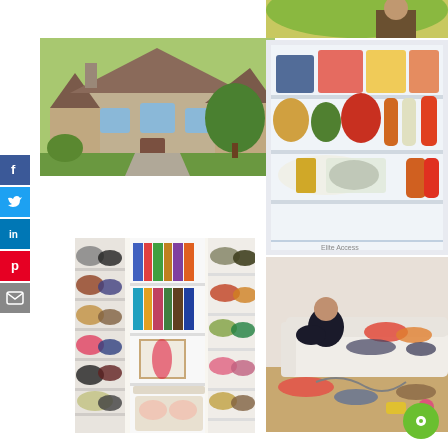[Figure (photo): Large suburban house with stone facade and green lawn]
[Figure (photo): Open refrigerator fully stocked with food containers and condiments]
[Figure (photo): Person sitting atop something outdoors, partial view at top]
[Figure (photo): Organized walk-in closet with shoe racks and shelving]
[Figure (photo): Woman sitting on messy couch surrounded by scattered clothes and toys]
[Figure (other): Green circle button icon in bottom right corner]